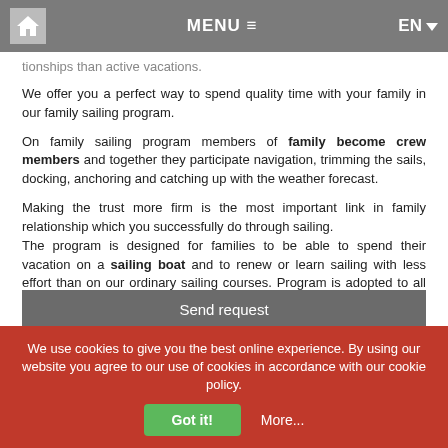MENU  EN
tionships than active vacations.
We offer you a perfect way to spend quality time with your family in our family sailing program.
On family sailing program members of family become crew members and together they participate navigation, trimming the sails, docking, anchoring and catching up with the weather forecast.
Making the trust more firm is the most important link in family relationship which you successfully do through sailing.
The program is designed for families to be able to spend their vacation on a sailing boat and to renew or learn sailing with less effort than on our ordinary sailing courses. Program is adopted to all ages, and daily schedule & sailing route is made together with the family.
Dates are not specified because they can be agreed with the wishes of the families.
Send request
We use cookies to give you the best online experience. By using our website you agree to our use of cookies in accordance with our cookie policy.
Got it!
More...